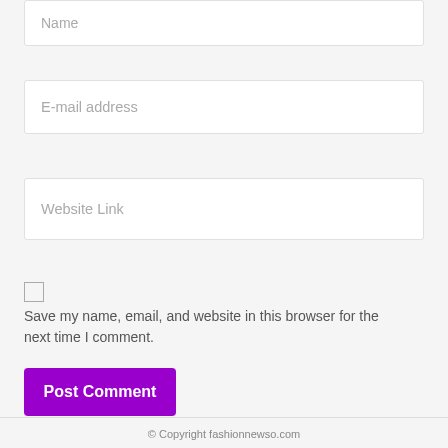Name
E-mail address
Website Link
Save my name, email, and website in this browser for the next time I comment.
Post Comment
© Copyright fashionnewso.com